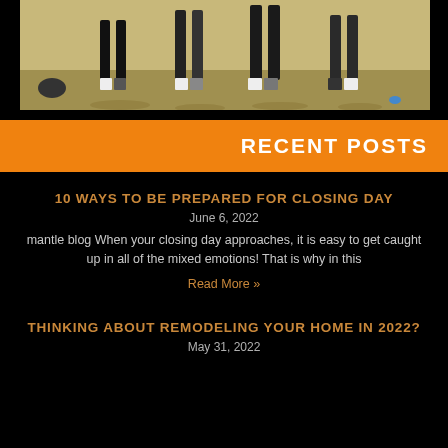[Figure (photo): Outdoor photo showing people standing on a grassy/dirt field, only their legs and feet visible from the waist down, in daylight.]
RECENT POSTS
10 WAYS TO BE PREPARED FOR CLOSING DAY
June 6, 2022
mantle blog When your closing day approaches, it is easy to get caught up in all of the mixed emotions! That is why in this
Read More »
THINKING ABOUT REMODELING YOUR HOME IN 2022?
May 31, 2022